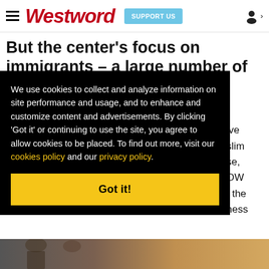Westword | SUPPORT US
But the center's focus on immigrants – a large number of them Muslim – has drawn its own
...ive ...slim ...se, ...OW ...t the ...ness
We use cookies to collect and analyze information on site performance and usage, and to enhance and customize content and advertisements. By clicking 'Got it' or continuing to use the site, you agree to allow cookies to be placed. To find out more, visit our cookies policy and our privacy policy.
[Got it!]
[Figure (photo): Partial photo visible at bottom of page, showing people, warm tones]